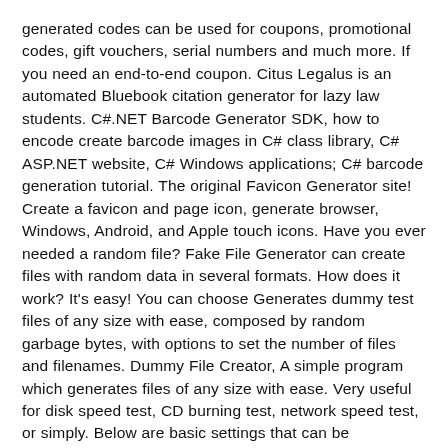generated codes can be used for coupons, promotional codes, gift vouchers, serial numbers and much more. If you need an end-to-end coupon. Citus Legalus is an automated Bluebook citation generator for lazy law students. C#.NET Barcode Generator SDK, how to encode create barcode images in C# class library, C# ASP.NET website, C# Windows applications; C# barcode generation tutorial. The original Favicon Generator site! Create a favicon and page icon, generate browser, Windows, Android, and Apple touch icons. Have you ever needed a random file? Fake File Generator can create files with random data in several formats. How does it work? It's easy! You can choose Generates dummy test files of any size with ease, composed by random garbage bytes, with options to set the number of files and filenames. Dummy File Creator, A simple program which generates files of any size with ease. Very useful for disk speed test, CD burning test, network speed test, or simply. Below are basic settings that can be configured during and after installation. What you type will automatically